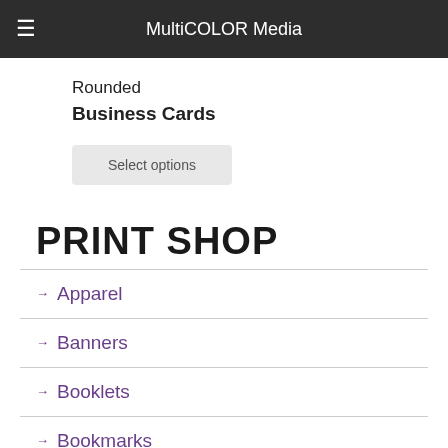MultiCOLOR Media
Rounded Business Cards
Select options
PRINT SHOP
Apparel
Banners
Booklets
Bookmarks
Brochures